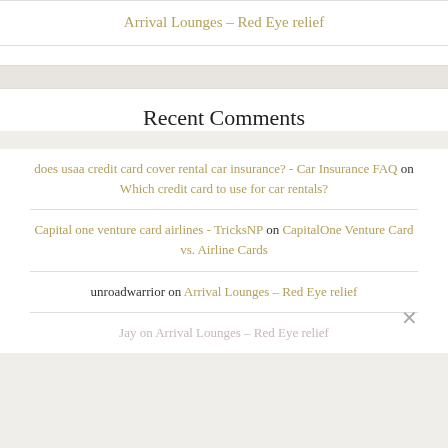Arrival Lounges – Red Eye relief
Recent Comments
does usaa credit card cover rental car insurance? - Car Insurance FAQ on Which credit card to use for car rentals?
Capital one venture card airlines - TricksNP on CapitalOne Venture Card vs. Airline Cards
unroadwarrior on Arrival Lounges – Red Eye relief
Jay on Arrival Lounges – Red Eye relief